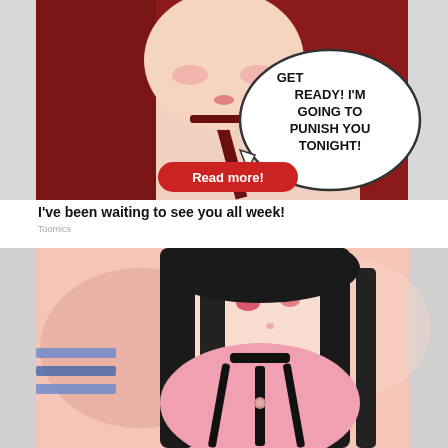[Figure (illustration): Manga/anime style illustration of a red-haired female character with a speech bubble reading 'GET READY! I'M GOING TO PUNISH YOU TONIGHT!' and a red 'Read more!' button overlay]
I've been waiting to see you all week!
Toomics
[Figure (illustration): Manga/anime style illustration of a dark-haired female character in a pink outfit with black straps/ribbons, looking sideways]